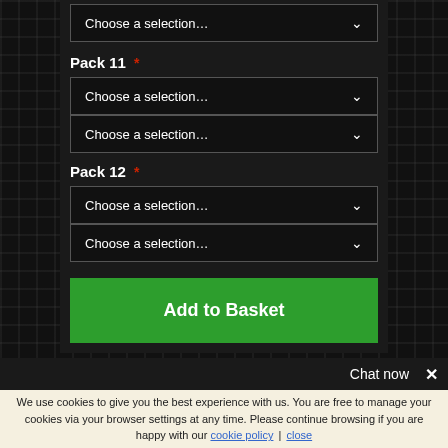[Figure (screenshot): Top dropdown box showing 'Choose a selection...' with a down arrow]
Pack 11 *
[Figure (screenshot): Two stacked dropdown boxes for Pack 11 each showing 'Choose a selection...']
Pack 12 *
[Figure (screenshot): Two stacked dropdown boxes for Pack 12 each showing 'Choose a selection...']
[Figure (screenshot): Green 'Add to Basket' button]
Chat now  ×
We use cookies to give you the best experience with us. You are free to manage your cookies via your browser settings at any time. Please continue browsing if you are happy with our cookie policy | close